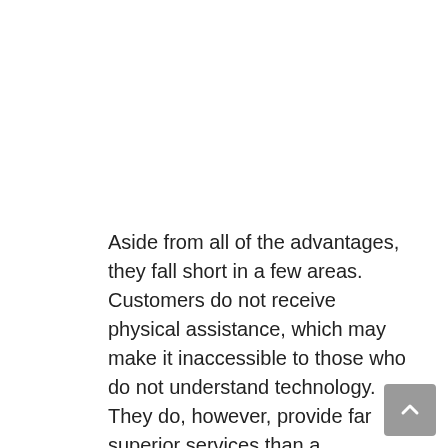Aside from all of the advantages, they fall short in a few areas. Customers do not receive physical assistance, which may make it inaccessible to those who do not understand technology. They do, however, provide far superior services than a traditional bank. They are unable to provide all of the services of a traditional bank.